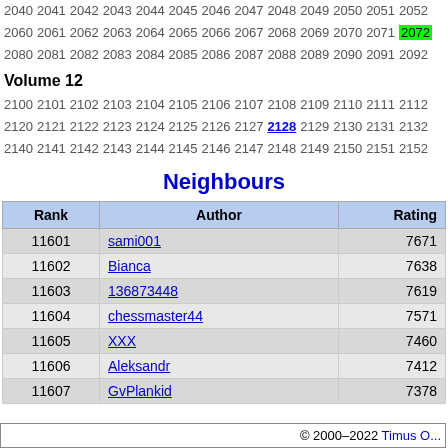2040 2041 2042 2043 2044 2045 2046 2047 2048 2049 2050 2051 2052
2060 2061 2062 2063 2064 2065 2066 2067 2068 2069 2070 2071 2072
2080 2081 2082 2083 2084 2085 2086 2087 2088 2089 2090 2091 2092
Volume 12
2100 2101 2102 2103 2104 2105 2106 2107 2108 2109 2110 2111 2112
2120 2121 2122 2123 2124 2125 2126 2127 2128 2129 2130 2131 2132
2140 2141 2142 2143 2144 2145 2146 2147 2148 2149 2150 2151 2152
Neighbours
| Rank | Author | Rating |
| --- | --- | --- |
| 11601 | sami001 | 7671 |
| 11602 | Bianca | 7638 |
| 11603 | 136873448 | 7619 |
| 11604 | chessmaster44 | 7571 |
| 11605 | XXX | 7460 |
| 11606 | Aleksandr | 7412 |
| 11607 | GvPlankid | 7378 |
© 2000–2022 Timus O...